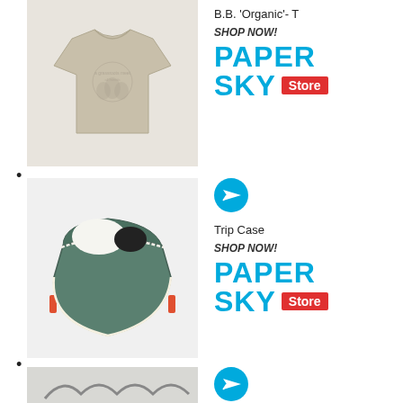[Figure (photo): Beige/tan organic cotton t-shirt on white background]
B.B. 'Organic'- T
SHOP NOW!
[Figure (logo): PAPER SKY Store logo in cyan blue with red Store badge]
•
[Figure (photo): Teal/green canvas trip case toiletry bag with items packed inside, shown open on white background]
[Figure (infographic): Cyan paper plane send/share icon circle]
Trip Case
SHOP NOW!
[Figure (logo): PAPER SKY Store logo in cyan blue with red Store badge]
•
[Figure (photo): Partial view of another product at bottom of page]
[Figure (infographic): Cyan paper plane send/share icon circle]